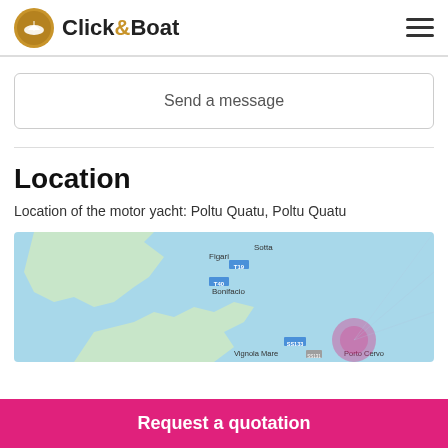Click&Boat
Send a message
Location
Location of the motor yacht: Poltu Quatu, Poltu Quatu
[Figure (map): Map showing coastal area including Sotta, Figari, Bonifacio, Vignola Mare, Porto Cervo region with road markers T19, T40, SS133]
Request a quotation